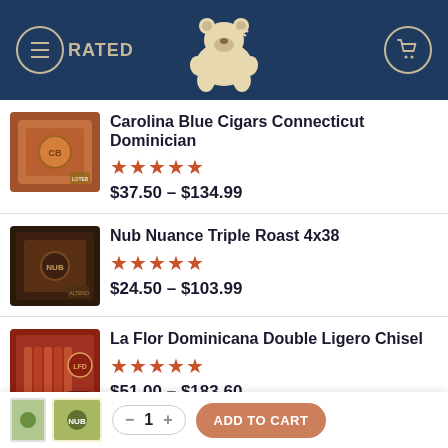[Figure (screenshot): Website header with dark navy background, bear logo in center, hamburger menu on left with RATED text, shopping cart icon on right]
Carolina Blue Cigars Connecticut Dominician — ★★★★★ — $37.50 – $134.99
Nub Nuance Triple Roast 4x38 — ★★★★★ — $24.50 – $103.99
La Flor Dominicana Double Ligero Chisel — ★★★★★ — $51.00 – $183.60
Black Works Studio NBK
[Figure (other): Bottom add-to-cart bar with product thumbnail, quantity selector showing 1, and ADD TO CART button in salmon/orange color]